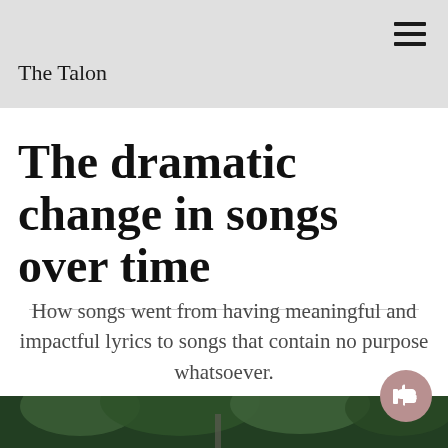The Talon
The dramatic change in songs over time
How songs went from having meaningful and impactful lyrics to songs that contain no purpose whatsoever.
[Figure (photo): Outdoor scene with green trees and sky visible at the bottom of the page]